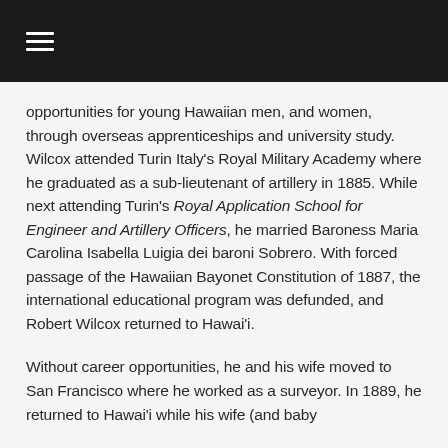≡
opportunities for young Hawaiian men, and women, through overseas apprenticeships and university study. Wilcox attended Turin Italy's Royal Military Academy where he graduated as a sub-lieutenant of artillery in 1885. While next attending Turin's Royal Application School for Engineer and Artillery Officers, he married Baroness Maria Carolina Isabella Luigia dei baroni Sobrero. With forced passage of the Hawaiian Bayonet Constitution of 1887, the international educational program was defunded, and Robert Wilcox returned to Hawai'i.
Without career opportunities, he and his wife moved to San Francisco where he worked as a surveyor. In 1889, he returned to Hawai'i while his wife (and baby